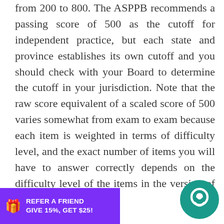from 200 to 800. The ASPPB recommends a passing score of 500 as the cutoff for independent practice, but each state and province establishes its own cutoff and you should check with your Board to determine the cutoff in your jurisdiction. Note that the raw score equivalent of a scaled score of 500 varies somewhat from exam to exam because each item is weighted in terms of difficulty level, and the exact number of items you will have to answer correctly depends on the difficulty level of the items in the version of the EPPP that you take. However, a scaled score of 500 is equivalent to a raw score
[Figure (other): Purple referral banner at bottom left: gift box icon, REFER A FRIEND / GIVE 15%, GET $25!]
[Figure (other): Teal circular chat/support button at bottom right with a speech-bubble person icon]